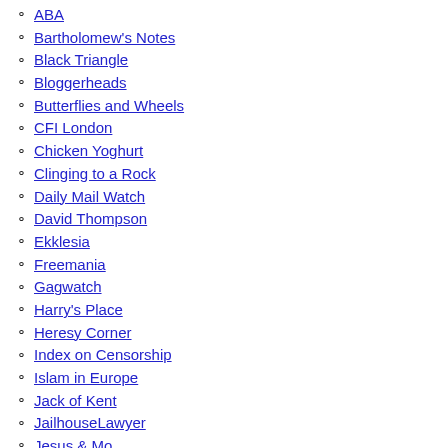ABA
Bartholomew's Notes
Black Triangle
Bloggerheads
Butterflies and Wheels
CFI London
Chicken Yoghurt
Clinging to a Rock
Daily Mail Watch
David Thompson
Ekklesia
Freemania
Gagwatch
Harry's Place
Heresy Corner
Index on Censorship
Islam in Europe
Jack of Kent
JailhouseLawyer
Jesus & Mo
Leicester Sec Soc
Liberal Conspiracy
Melon Farmers
Ministry of Truth
New Humanist Weblog